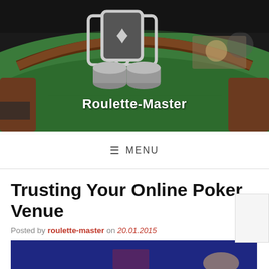[Figure (photo): Casino roulette table with green felt surface, wooden rim, and casino equipment visible. The Roulette-Master website logo and site name are overlaid in the center of the image.]
≡ MENU
Trusting Your Online Poker Venue
Posted by roulette-master on 20.01.2015
[Figure (photo): Partial photo of a poker or card game scene with blue felt and hands visible at bottom of page.]